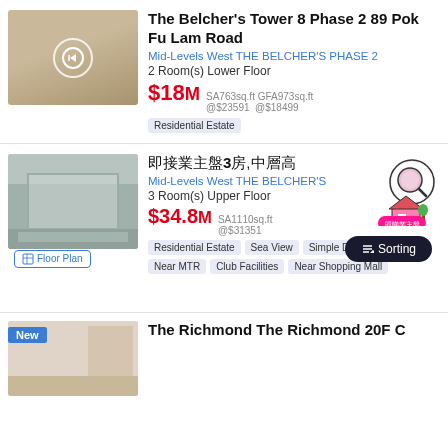[Figure (photo): Interior room photo showing wooden floor and window, with circular navigation icon overlay]
The Belcher's Tower 8 Phase 2 89 Pok Fu Lam Road
Mid-Levels West THE BELCHER'S PHASE 2
2 Room(s) Lower Floor
$18M SA763sq.ft GFA973sq.ft @$23591 @$18499
Residential Estate
[Figure (photo): Interior room photo with large window and reflective floor]
□□□□□□3□,□□□□
Mid-Levels West THE BELCHER'S
3 Room(s) Upper Floor
$34.8M SA1110sq.ft @$31351
Residential Estate Sea View Simple Decoration Near MTR Club Facilities Near Shopping Mall
[Figure (photo): Interior room photo, partially visible at the bottom of the page with 'New' badge]
The Richmond The Richmond 20F C